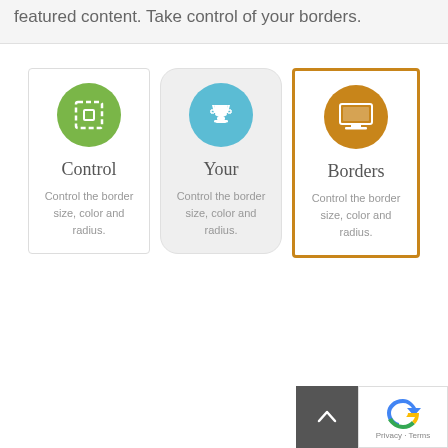featured content. Take control of your borders.
[Figure (infographic): Three feature cards. Card 1: green circle with dashed-square icon, title 'Control', description 'Control the border size, color and radius.' Card 2: gray rounded card with blue circle trophy icon, title 'Your', description 'Control the border size, color and radius.' Card 3: orange-bordered card with orange circle laptop icon, title 'Borders', description 'Control the border size, color and radius.']
[Figure (other): Dark gray scroll-up arrow button and reCAPTCHA logo with 'Privacy - Terms' text at bottom right]